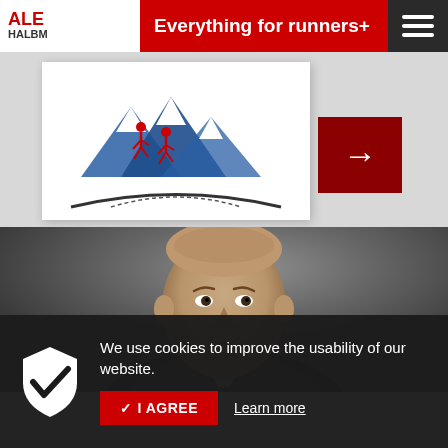Everything for runners+
[Figure (logo): ALE HALBM race event logo with mountains and runner silhouettes in blue and red]
[Figure (photo): Professional headshot of a middle-aged bald man in a dark suit jacket, smiling, against a gray background]
We use cookies to improve the usability of our website.
✓ I AGREE
Learn more